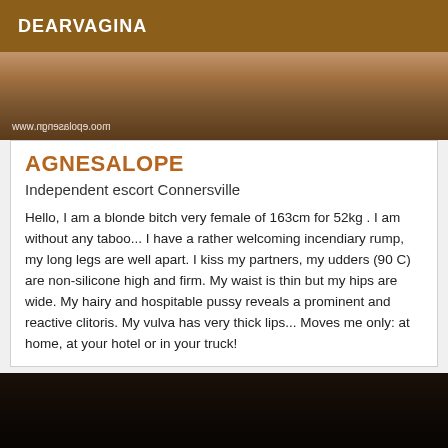DEARVAGINA
[Figure (photo): Top portion of a photo showing feet/shoes on a light surface, with watermark text www.agnesalope.com mirrored]
AGNESALOPE
Independent escort Connersville
Hello, I am a blonde bitch very female of 163cm for 52kg . I am without any taboo... I have a rather welcoming incendiary rump, my long legs are well apart. I kiss my partners, my udders (90 C) are non-silicone high and firm. My waist is thin but my hips are wide. My hairy and hospitable pussy reveals a prominent and reactive clitoris. My vulva has very thick lips... Moves me only: at home, at your hotel or in your truck!
[Figure (photo): Dark, nearly black photo at the bottom of the page]